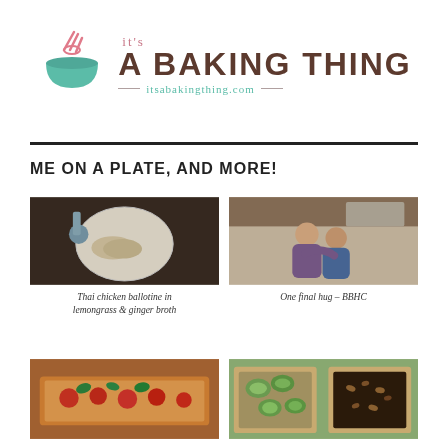[Figure (logo): It's A Baking Thing logo with teal bowl and whisk, brown bold text 'A BAKING THING', and URL itsabakingthing.com in teal]
ME ON A PLATE, AND MORE!
[Figure (photo): Top-down photo of Thai chicken ballotine in a white bowl with broth on a dark wooden surface with a small blue jug]
Thai chicken ballotine in lemongrass & ginger broth
[Figure (photo): Photo of two people hugging in a kitchen setting, BBHC]
One final hug – BBHC
[Figure (photo): Photo of a long rectangular tart with tomatoes and basil]
[Figure (photo): Photo of two square tarts, one with courgette slices and one dark chocolate tart]